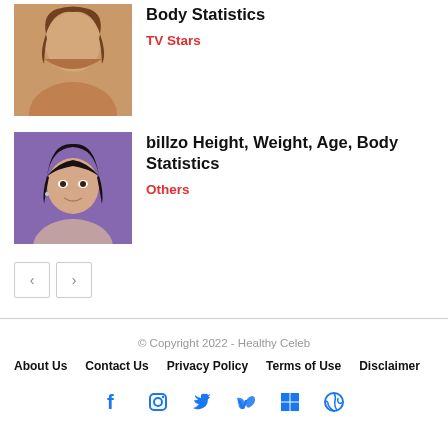[Figure (photo): Cropped photo of a person, article thumbnail for TV Stars article about Body Statistics]
Body Statistics
TV Stars
[Figure (photo): Photo of billzo smiling, article thumbnail for billzo Height, Weight, Age, Body Statistics]
billzo Height, Weight, Age, Body Statistics
Others
‹  ›
© Copyright 2022 - Healthy Celeb
About Us   Contact Us   Privacy Policy   Terms of Use   Disclaimer